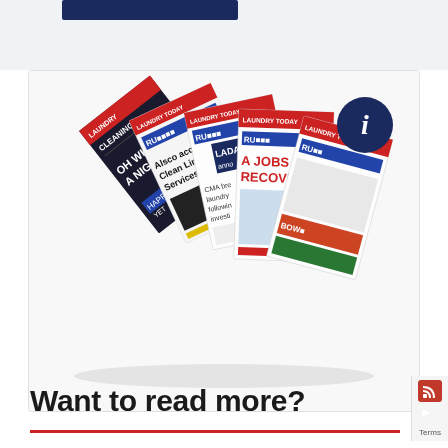[Figure (illustration): Top banner area with dark blue rectangle element at top of page]
[Figure (photo): Fan of multiple issues of Laundry & Cleaning Today / Laundry & Cleaning News trade magazines spread out, showing various headlines including 'A Jobs Led Recovery', 'Alsco acquires Clean Linen Services', 'Oh What A Night', 'CMA breaks laundry following investi...', 'LADA anno...', with red/blue/white masthead designs. A dark navy circle with white 'i' information icon overlays the top right of the image.]
Want to read more?